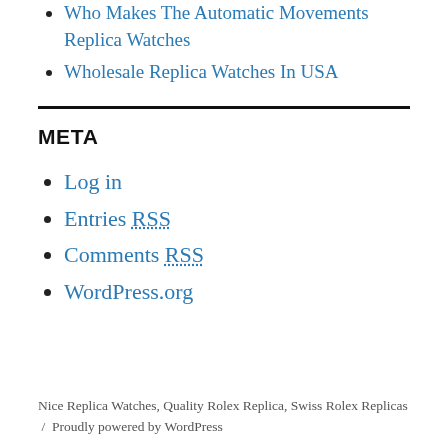Who Makes The Automatic Movements Replica Watches
Wholesale Replica Watches In USA
META
Log in
Entries RSS
Comments RSS
WordPress.org
Nice Replica Watches, Quality Rolex Replica, Swiss Rolex Replicas / Proudly powered by WordPress